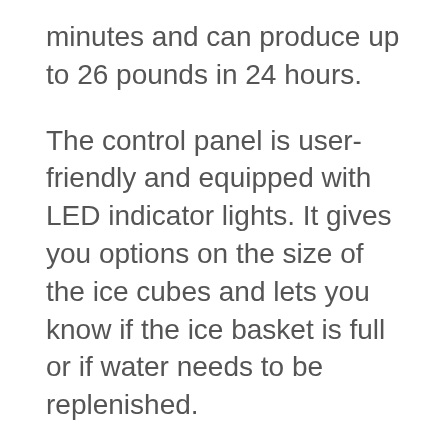minutes and can produce up to 26 pounds in 24 hours.
The control panel is user-friendly and equipped with LED indicator lights. It gives you options on the size of the ice cubes and lets you know if the ice basket is full or if water needs to be replenished.
The clear lid allows you to see into the ice basket which can be easily removed when it is time to serve the ice.
When not in use, the drain plug allows you to